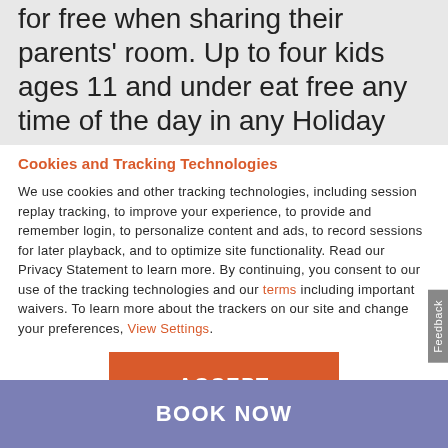for free when sharing their parents' room. Up to four kids ages 11 and under eat free any time of the day in any Holiday Inn® on-site restaurant.
Cookies and Tracking Technologies
We use cookies and other tracking technologies, including session replay tracking, to improve your experience, to provide and remember login, to personalize content and ads, to record sessions for later playback, and to optimize site functionality. Read our Privacy Statement to learn more. By continuing, you consent to our use of the tracking technologies and our terms including important waivers. To learn more about the trackers on our site and change your preferences, View Settings.
ACCEPT
BOOK NOW